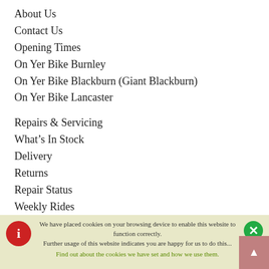About Us
Contact Us
Opening Times
On Yer Bike Burnley
On Yer Bike Blackburn (Giant Blackburn)
On Yer Bike Lancaster
Repairs & Servicing
What's In Stock
Delivery
Returns
Repair Status
Weekly Rides
Bike Fitting
Terms & Conditions
Privacy & Cookies
Christmas Club
We have placed cookies on your browsing device to enable this website to function correctly. Further usage of this website indicates you are happy for us to do this... Find out about the cookies we have set and how we use them.